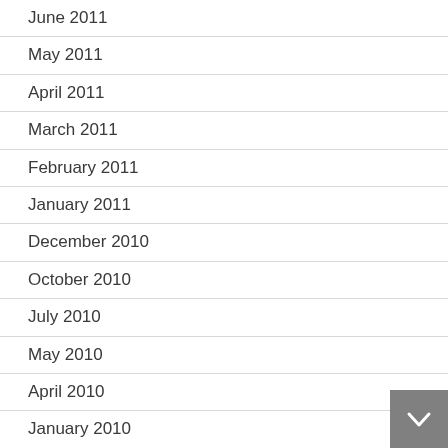June 2011
May 2011
April 2011
March 2011
February 2011
January 2011
December 2010
October 2010
July 2010
May 2010
April 2010
January 2010
November 2009
September 2009
August 2009
July 2009
June 2009